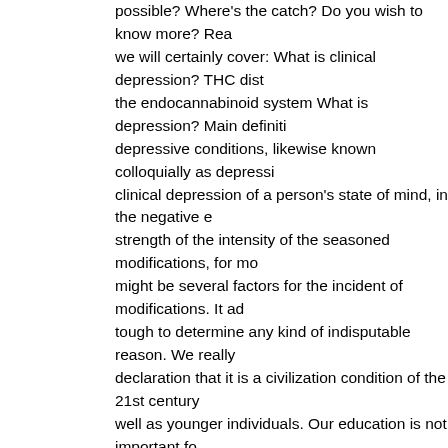possible? Where's the catch? Do you wish to know more? Rea... we will certainly cover: What is clinical depression? THC dist... the endocannabinoid system What is depression? Main definiti... depressive conditions, likewise known colloquially as depressi... clinical depression of a person's state of mind, in the negative e... strength of the intensity of the seasoned modifications, for mo... might be several factors for the incident of modifications. It ad... tough to determine any kind of indisputable reason. We really ... declaration that it is a civilization condition of the 21st century... well as younger individuals. Our education is not important fo... mention our revenues – it can affect anybody. Treatment of cli... to: pharmacotherapy, psychiatric therapy and psychoeducation... electroconvulsive therapy and also more all-natural activities a... exercise as well as the intro of substantial modifications in the... of all-natural methods of fighting and counteracting anxiety th... preparations with cannabinoids naturally occurring in the plan... obtaining a growing number of appeal on the planet. Cannabid... or full-spectrum hemp oil, appears in countless scientific rese... efficient cannabinoid in the therapy of clinical depression. No... chemical compound of plant origin. Remarkably, clinical depre... typical mental illness in which individuals resort to CBD hem... complete range hemp oil with CBD or CBD pills. Records fro... positive viewpoints on the efficiency of e.g. CBD oil or full ra... are growing at an unprecedented rate. THC and also CBD can... main cannabinoids in the marijuana plant are THC (Δ9-tetrahy...